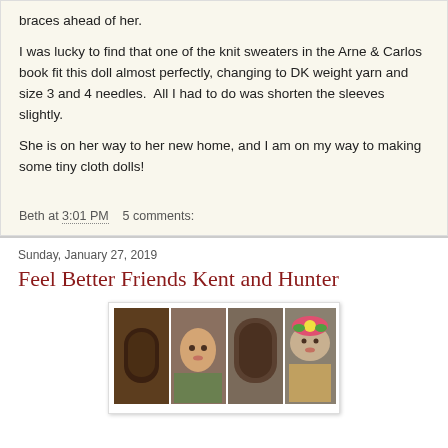braces ahead of her.
I was lucky to find that one of the knit sweaters in the Arne & Carlos book fit this doll almost perfectly, changing to DK weight yarn and size 3 and 4 needles.  All I had to do was shorten the sleeves slightly.
She is on her way to her new home, and I am on my way to making some tiny cloth dolls!
Beth at 3:01 PM    5 comments:
Sunday, January 27, 2019
Feel Better Friends Kent and Hunter
[Figure (photo): Four panel photo strip showing handmade cloth dolls with knitted hair and accessories]